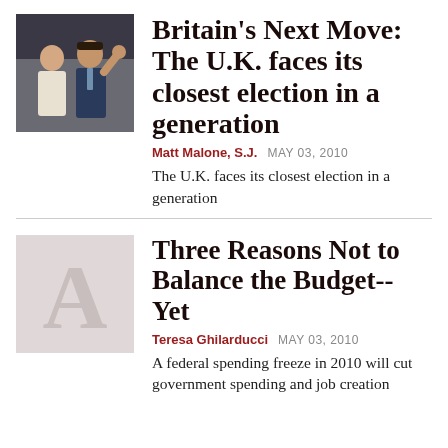[Figure (photo): Photo of two people, a woman and a man waving, in front of a building]
Britain's Next Move: The U.K. faces its closest election in a generation
Matt Malone, S.J.   MAY 03, 2010
The U.K. faces its closest election in a generation
[Figure (illustration): Large decorative drop capital letter A on a light pink/beige background]
Three Reasons Not to Balance the Budget-- Yet
Teresa Ghilarducci   MAY 03, 2010
A federal spending freeze in 2010 will cut government spending and job creation